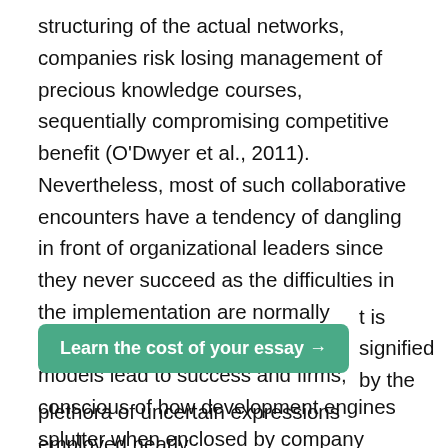structuring of the actual networks, companies risk losing management of precious knowledge courses, sequentially compromising competitive benefit (O'Dwyer et al., 2011). Nevertheless, most of such collaborative encounters have a tendency of dangling in front of organizational leaders since they never succeed as the difficulties in the implementation are normally insuperable. Open organizational models lead to success and firms, conscious of how development engines splutter when enclosed by company walls, encourage co-advancement with other businesses to ignite innovation and create value. The concepts of alliances and open networks and collaboration are particularly valuable with respect to innovation in the telecommunication industry. Nevertheless, a vital concern with implementing the open
[Figure (other): Green button with text 'Learn the cost of your essay →' overlaid on the page text]
plethora of uncertain expressions employed nearly